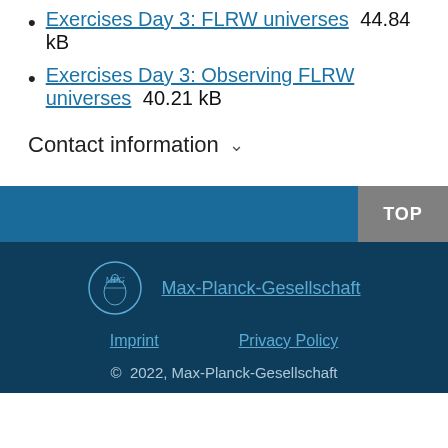Exercises Day 3: FLRW universes 44.84 kB
Exercises Day 3: Observing FLRW universes 40.21 kB
Contact information
TOP | Max-Planck-Gesellschaft | Imprint | Privacy Policy | © 2022, Max-Planck-Gesellschaft